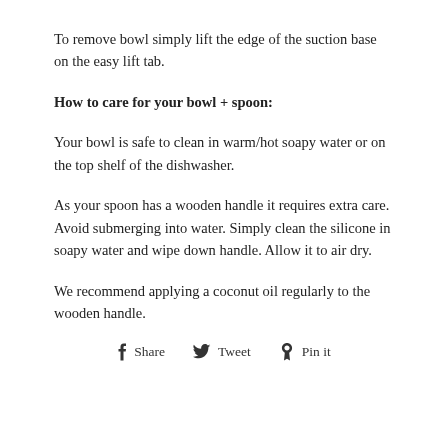To remove bowl simply lift the edge of the suction base on the easy lift tab.
How to care for your bowl + spoon:
Your bowl is safe to clean in warm/hot soapy water or on the top shelf of the dishwasher.
As your spoon has a wooden handle it requires extra care. Avoid submerging into water. Simply clean the silicone in soapy water and wipe down handle. Allow it to air dry.
We recommend applying a coconut oil regularly to the wooden handle.
Share   Tweet   Pin it